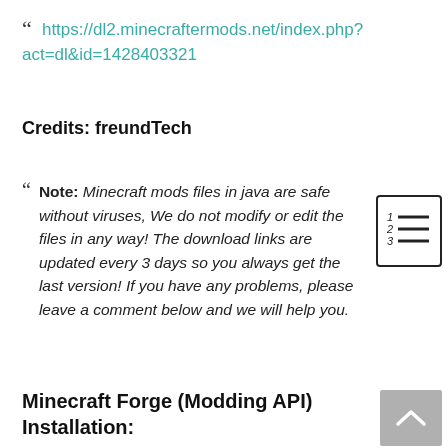“ https://dl2.minecraftermods.net/index.php?act=dl&id=1428403321
Credits: freundTech
“ Note: Minecraft mods files in java are safe without viruses, We do not modify or edit the files in any way! The download links are updated every 3 days so you always get the last version! If you have any problems, please leave a comment below and we will help you.
Minecraft Forge (Modding API) Installation: